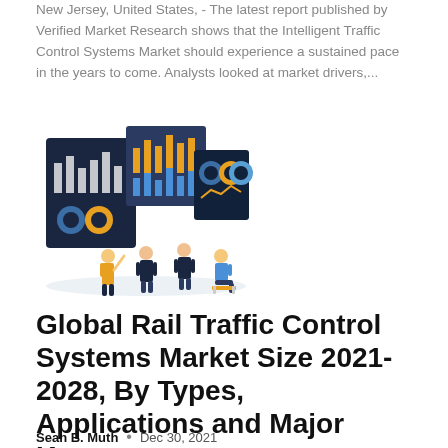New Jersey, United States, - The latest report published by Verified Market Research shows that the Intelligent Traffic Control Systems Market should experience a sustained pace in the years to come. Analysts looked at market drivers,...
[Figure (illustration): Business analytics illustration showing people presenting and reviewing charts and dashboards on large screens, including bar charts, pie charts, and donut charts on dark and light panels.]
Global Rail Traffic Control Systems Market Size 2021-2028, By Types, Applications and Major Key...
Sean B. Muth  •  Dec 30, 2021